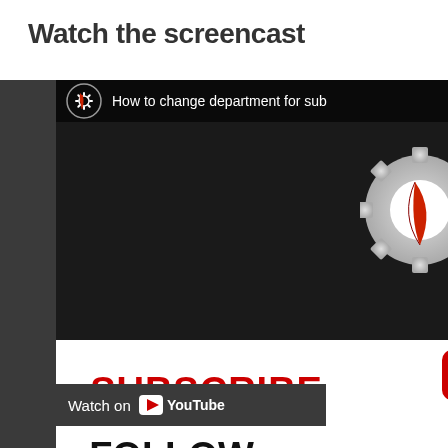Watch the screencast
[Figure (screenshot): Embedded YouTube video screenshot showing 'How to change department for sub...' with Nemo's PC PrestaShop logo, subscribe/follow/read the blog call-to-action text in red and black, YouTube play button, and 'Watch on YouTube' bar at bottom.]